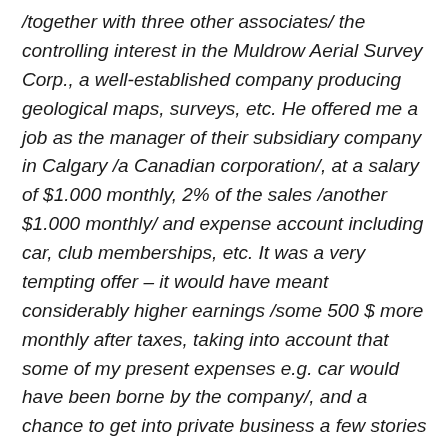/together with three other associates/ the controlling interest in the Muldrow Aerial Survey Corp., a well-established company producing geological maps, surveys, etc. He offered me a job as the manager of their subsidiary company in Calgary /a Canadian corporation/, at a salary of $1.000 monthly, 2% of the sales /another $1.000 monthly/ and expense account including car, club memberships, etc. It was a very tempting offer – it would have meant considerably higher earnings /some 500 $ more monthly after taxes, taking into account that some of my present expenses e.g. car would have been borne by the company/, and a chance to get into private business a few stories about the ground-floor level. However, after a lot of thinking, I refused the offer. Immigration told me that as an employee of a Canadian corporation, I could not maintain my american residence for purposes of acquiring